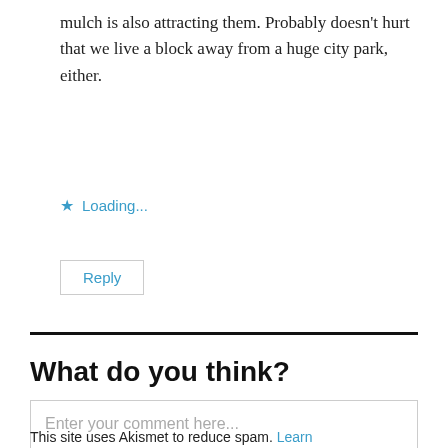mulch is also attracting them. Probably doesn't hurt that we live a block away from a huge city park, either.
★ Loading...
Reply
What do you think?
Enter your comment here...
This site uses Akismet to reduce spam. Learn